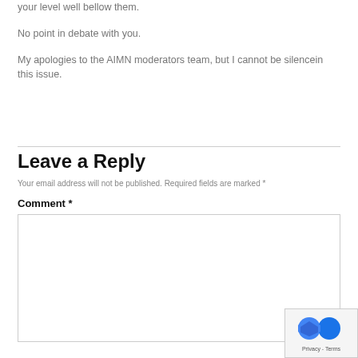your level well bellow them.
No point in debate with you.
My apologies to the AIMN moderators team, but I cannot be silencein this issue.
Leave a Reply
Your email address will not be published. Required fields are marked *
Comment *